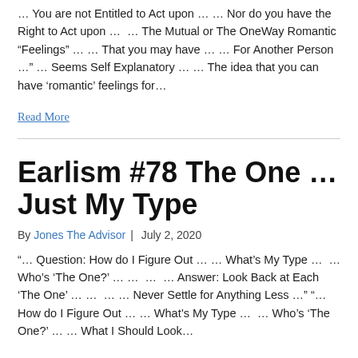… You are not Entitled to Act upon … … Nor do you have the Right to Act upon …  … The Mutual or The OneWay Romantic “Feelings” … … That you may have … … For Another Person …” … Seems Self Explanatory … … The idea that you can have ‘romantic’ feelings for…
Read More
Earlism #78 The One … Just My Type
By Jones The Advisor  |  July 2, 2020
“… Question: How do I Figure Out … … What’s My Type …  … Who’s ‘The One?’ … …  …  … Answer: Look Back at Each ‘The One’ … …  … … Never Settle for Anything Less …” “… How do I Figure Out … … What’s My Type …  … Who’s ‘The One?’ … … What I Should Look…
Read More